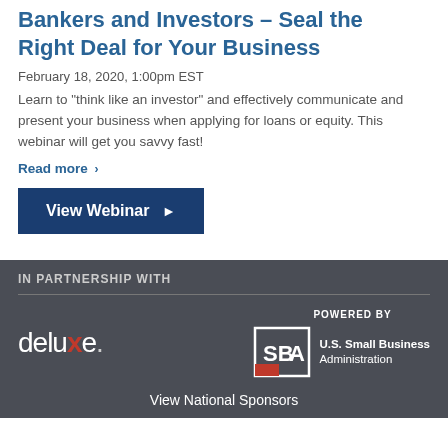Bankers and Investors – Seal the Right Deal for Your Business
February 18, 2020, 1:00pm EST
Learn to "think like an investor" and effectively communicate and present your business when applying for loans or equity. This webinar will get you savvy fast!
Read more ›
View Webinar ▶
IN PARTNERSHIP WITH
[Figure (logo): Deluxe logo in white with red X]
[Figure (logo): POWERED BY U.S. Small Business Administration SBA logo]
View National Sponsors